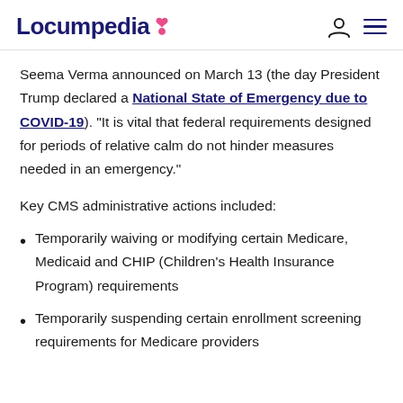Locumpedia
Seema Verma announced on March 13 (the day President Trump declared a National State of Emergency due to COVID-19). “It is vital that federal requirements designed for periods of relative calm do not hinder measures needed in an emergency.”
Key CMS administrative actions included:
Temporarily waiving or modifying certain Medicare, Medicaid and CHIP (Children’s Health Insurance Program) requirements
Temporarily suspending certain enrollment screening requirements for Medicare providers